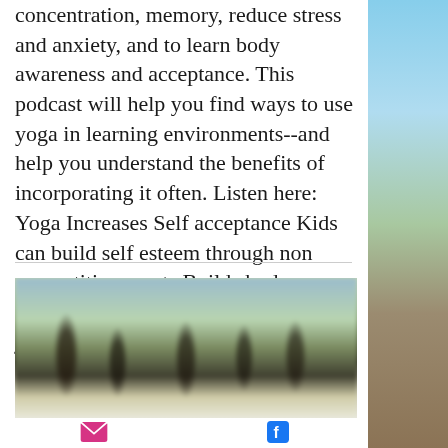concentration, memory, reduce stress and anxiety, and to learn body awareness and acceptance. This podcast will help you find ways to use yoga in learning environments--and help you understand the benefits of incorporating it often. Listen here: Yoga Increases Self acceptance Kids can build self esteem through non competitive sports Builds body acceptance Yoga focuses on non judgement- gives kids a sense of
[Figure (photo): Blurred outdoor photo showing silhouettes of people (children) doing yoga poses on grass, with trees in background]
[Figure (other): Email icon (envelope, pink/magenta) and Facebook icon (blue) at the bottom of the page]